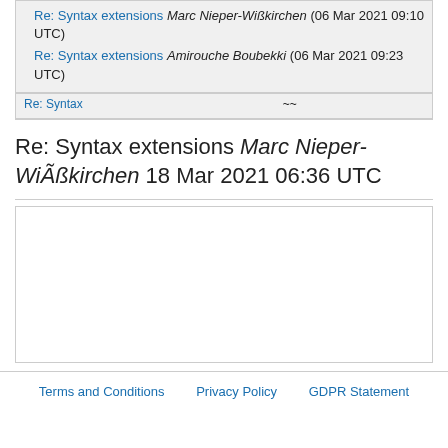Re: Syntax extensions Marc Nieper-Wißkirchen (06 Mar 2021 09:10 UTC)
Re: Syntax extensions Amirouche Boubekki (06 Mar 2021 09:23 UTC)
Re: Syntax extensions Marc Nieper-Wißkirchen 18 Mar 2021 06:36 UTC
[Figure (other): Empty content area / message body box]
Terms and Conditions   Privacy Policy   GDPR Statement